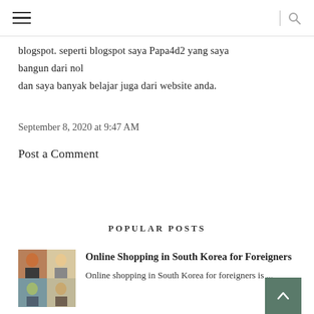blogspot. seperti blogspot saya Papa4d2 yang saya bangun dari nol
dan saya banyak belajar juga dari website anda.
September 8, 2020 at 9:47 AM
Post a Comment
POPULAR POSTS
[Figure (photo): Thumbnail collage of people for Online Shopping in South Korea for Foreigners post]
Online Shopping in South Korea for Foreigners
Online shopping in South Korea for foreigners is ...